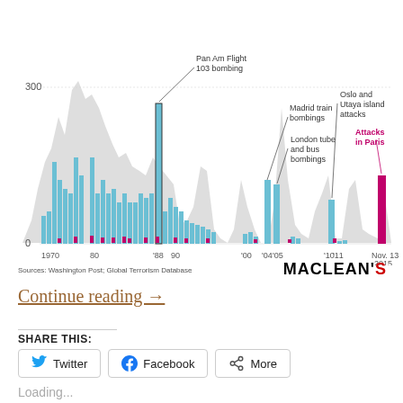[Figure (bar-chart): Bar chart showing terrorism deaths in Europe from 1970 to Nov 13 2015. Blue bars show deaths per year with a grey area chart background. Pink/magenta bars highlight specific notable attacks. Key events labeled: Pan Am Flight 103 bombing ('88), Madrid train bombings ('04), London tube and bus bombings ('05), Oslo and Utaya island attacks ('10-'11), Attacks in Paris (Nov 13 2015). Y-axis shows value 300 marked. X-axis labels: 1970, 80, '88, 90, '00, '04, '05, '10, '11, Nov 13 2015.]
Sources: Washington Post; Global Terrorism Database
Continue reading →
SHARE THIS:
Loading...